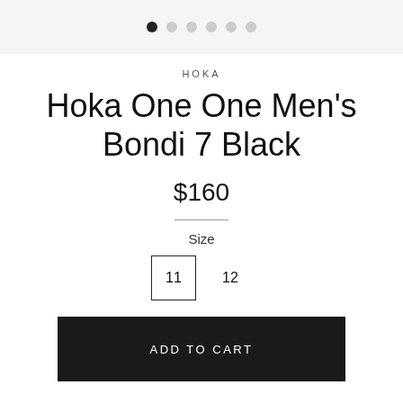• • • • • •
HOKA
Hoka One One Men's Bondi 7 Black
$160
Size
11  12
ADD TO CART